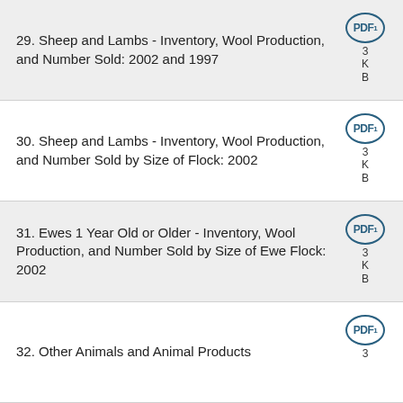29. Sheep and Lambs - Inventory, Wool Production, and Number Sold: 2002 and 1997
30. Sheep and Lambs - Inventory, Wool Production, and Number Sold by Size of Flock: 2002
31. Ewes 1 Year Old or Older - Inventory, Wool Production, and Number Sold by Size of Ewe Flock: 2002
32. Other Animals and Animal Products